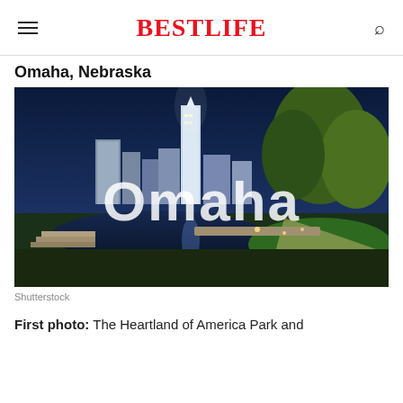BestLife
Omaha, Nebraska
[Figure (photo): Night photo of Omaha, Nebraska cityscape with park, water reflection, illuminated skyscrapers, trees, and large white 'Omaha' text overlay]
Shutterstock
First photo: The Heartland of America Park and